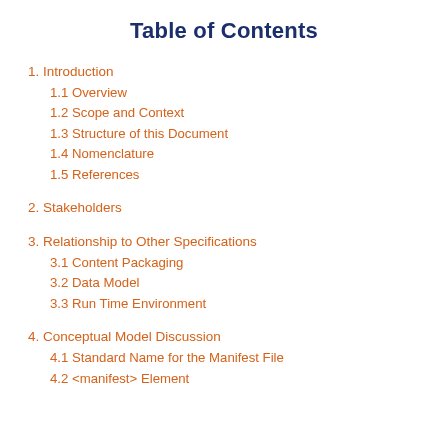Table of Contents
1. Introduction
1.1 Overview
1.2 Scope and Context
1.3 Structure of this Document
1.4 Nomenclature
1.5 References
2. Stakeholders
3. Relationship to Other Specifications
3.1 Content Packaging
3.2 Data Model
3.3 Run Time Environment
4. Conceptual Model Discussion
4.1 Standard Name for the Manifest File
4.2 <manifest> Element